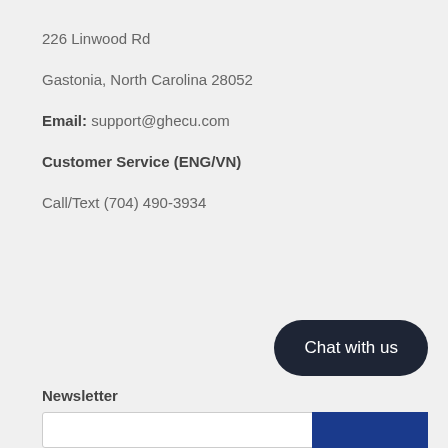226 Linwood Rd
Gastonia, North Carolina 28052
Email: support@ghecu.com
Customer Service (ENG/VN)
Call/Text (704) 490-3934
Chat with us
Newsletter